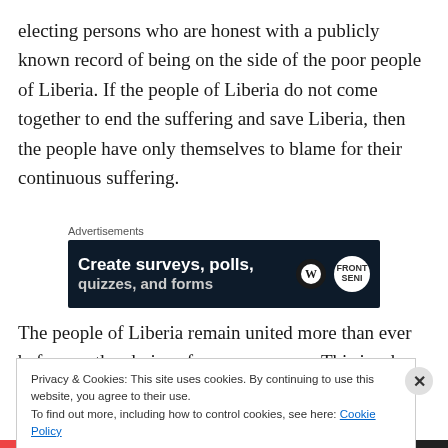electing persons who are honest with a publicly known record of being on the side of the poor people of Liberia. If the people of Liberia do not come together to end the suffering and save Liberia, then the people have only themselves to blame for their continuous suffering.
[Figure (screenshot): Advertisement banner with dark navy background showing text 'Create surveys, polls, quizzes, and forms' with a circular logo on the right]
The people of Liberia remain united more than ever before on the choice of peace over war. This is why the people of
Privacy & Cookies: This site uses cookies. By continuing to use this website, you agree to their use.
To find out more, including how to control cookies, see here: Cookie Policy